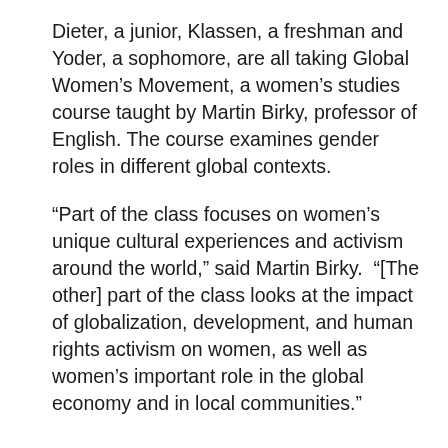Dieter, a junior, Klassen, a freshman and Yoder, a sophomore, are all taking Global Women's Movement, a women's studies course taught by Martin Birky, professor of English. The course examines gender roles in different global contexts.
“Part of the class focuses on women’s unique cultural experiences and activism around the world,” said Martin Birky.  “[The other] part of the class looks at the impact of globalization, development, and human rights activism on women, as well as women’s important role in the global economy and in local communities.”